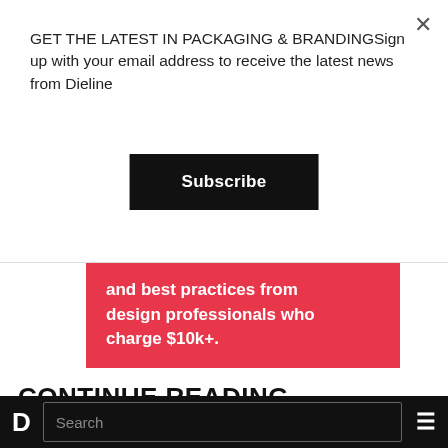GET THE LATEST IN PACKAGING & BRANDINGSign up with your email address to receive the latest news from Dieline
Subscribe
and best practices from design professionals who charge $10k+.
CONTINUE READING
BEVERAGE PACKAGING 07/07/2016
Parsons: The Juicers
D  Search  ☰